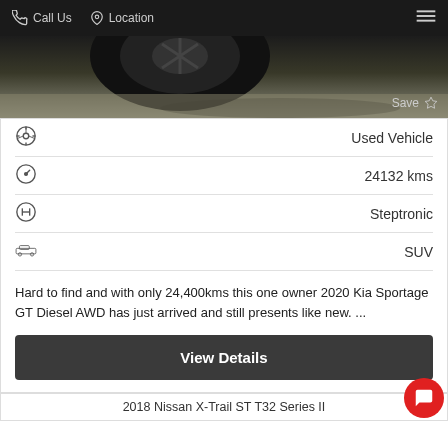Call Us   Location
[Figure (photo): Partial view of a dark car wheel/tyre on pavement with a 'Save' star button overlay]
| Icon | Value |
| --- | --- |
| steering wheel icon | Used Vehicle |
| speedometer icon | 24132 kms |
| transmission icon | Steptronic |
| car silhouette icon | SUV |
Hard to find and with only 24,400kms this one owner 2020 Kia Sportage GT Diesel AWD has just arrived and still presents like new. ...
View Details
2018 Nissan X-Trail ST T32 Series II